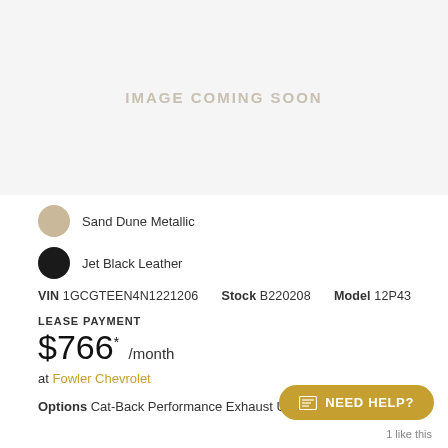[Figure (photo): Image coming soon placeholder area with light gray background]
Sand Dune Metallic
Jet Black Leather
VIN 1GCGTEEN4N1221206   Stock B220208   Model 12P43
LEASE PAYMENT
$766* /month
at Fowler Chevrolet
Options Cat-Back Performance Exhaust Upgrade System
1 like this